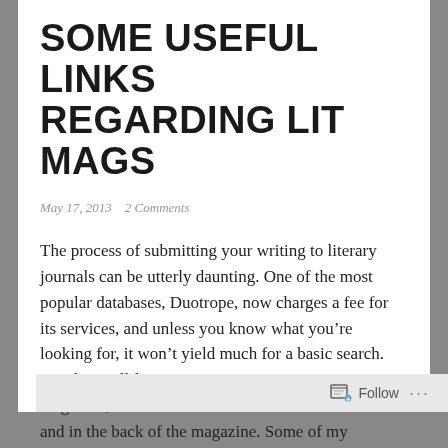SOME USEFUL LINKS REGARDING LIT MAGS
May 17, 2013   2 Comments
The process of submitting your writing to literary journals can be utterly daunting. One of the most popular databases, Duotrope, now charges a fee for its services, and unless you know what you’re looking for, it won’t yield much for a basic search. Another well-known resource, Poets & Writers magazine, has a classifieds section available online and in the back of the magazine. Some of my
Follow